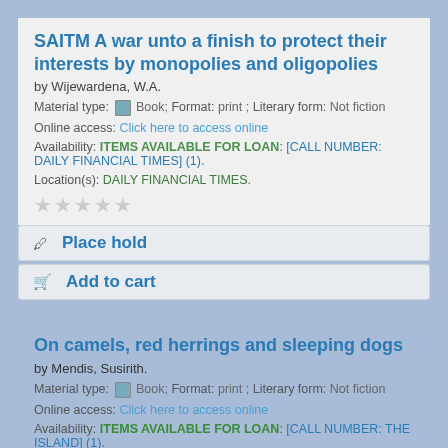SAITM A war unto a finish to protect their interests by monopolies and oligopolies
by Wijewardena, W.A.
Material type: Book; Format: print ; Literary form: Not fiction
Online access: Click here to access online
Availability: ITEMS AVAILABLE FOR LOAN: [CALL NUMBER: DAILY FINANCIAL TIMES] (1).
Location(s): DAILY FINANCIAL TIMES.
Place hold
Add to cart
On camels, red herrings and sleeping dogs
by Mendis, Susirith.
Material type: Book; Format: print ; Literary form: Not fiction
Online access: Click here to access online
Availability: ITEMS AVAILABLE FOR LOAN: [CALL NUMBER: THE ISLAND] (1).